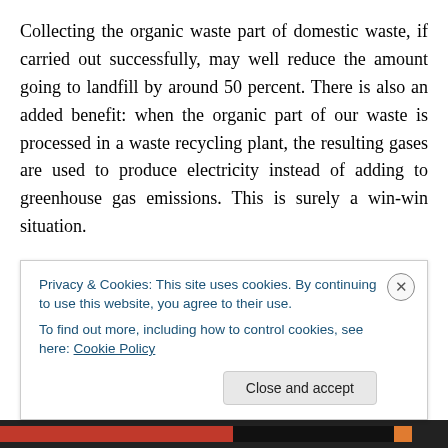Collecting the organic waste part of domestic waste, if carried out successfully, may well reduce the amount going to landfill by around 50 percent. There is also an added benefit: when the organic part of our waste is processed in a waste recycling plant, the resulting gases are used to produce electricity instead of adding to greenhouse gas emissions. This is surely a win-win situation.
Reducing 50 percent of our waste through the responsible management of just one part of it is very good policy.
Privacy & Cookies: This site uses cookies. By continuing to use this website, you agree to their use.
To find out more, including how to control cookies, see here: Cookie Policy